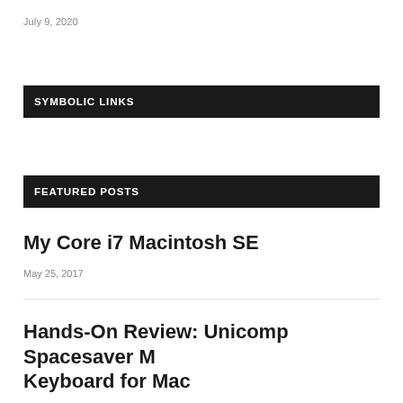July 9, 2020
SYMBOLIC LINKS
FEATURED POSTS
My Core i7 Macintosh SE
May 25, 2017
Hands-On Review: Unicomp Spacesaver M Keyboard for Mac